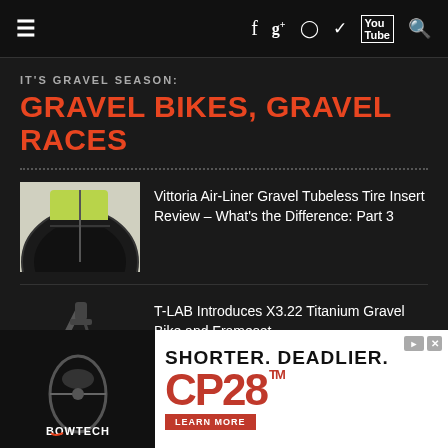≡  f  g+  ◎  🐦  YouTube  🔍
IT'S GRAVEL SEASON:
GRAVEL BIKES, GRAVEL RACES
Vittoria Air-Liner Gravel Tubeless Tire Insert Review – What's the Difference: Part 3
T-LAB Introduces X3.22 Titanium Gravel Bike and Frameset
[Figure (photo): Advertisement: Bowtech CP28 bow - SHORTER. DEADLIER. LEARN MORE]